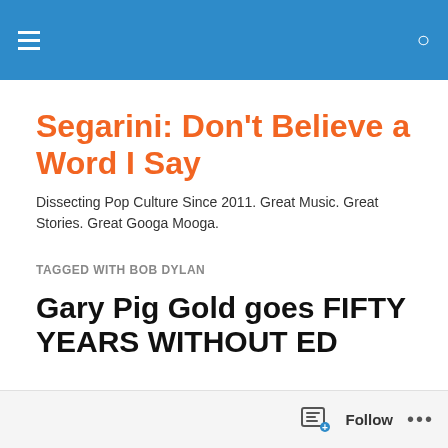Segarini: Don't Believe a Word I Say
Segarini: Don't Believe a Word I Say
Dissecting Pop Culture Since 2011. Great Music. Great Stories. Great Googa Mooga.
TAGGED WITH BOB DYLAN
Gary Pig Gold goes FIFTY YEARS WITHOUT ED